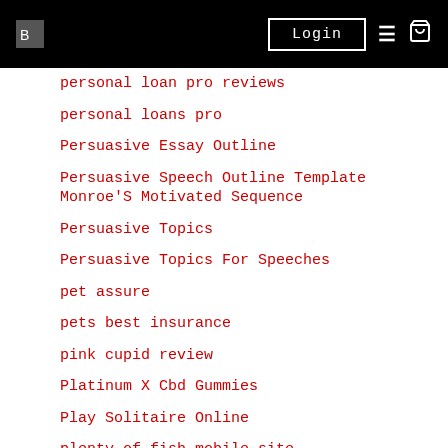Login [navigation bar with hamburger and cart icons]
personal loan pro reviews
personal loans pro
Persuasive Essay Outline
Persuasive Speech Outline Template Monroe'S Motivated Sequence
Persuasive Topics
Persuasive Topics For Speeches
pet assure
pets best insurance
pink cupid review
Platinum X Cbd Gummies
Play Solitaire Online
plenty of fish mobile site
plentyoffish dating sites